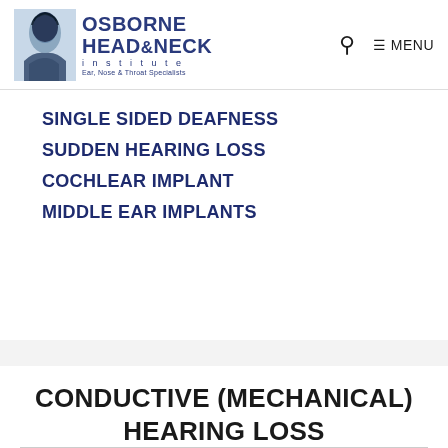Osborne Head & Neck Institute — Ear, Nose & Throat Specialists | Search | MENU
SINGLE SIDED DEAFNESS
SUDDEN HEARING LOSS
COCHLEAR IMPLANT
MIDDLE EAR IMPLANTS
CONDUCTIVE (MECHANICAL) HEARING LOSS